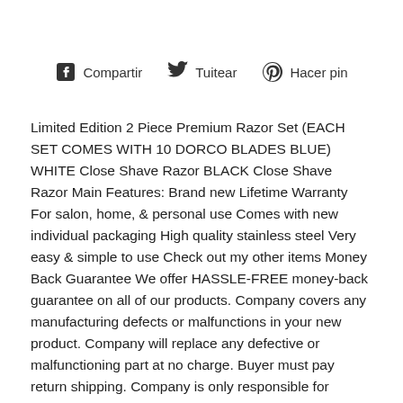[Figure (other): Social sharing bar with Facebook (Compartir), Twitter (Tuitear), and Pinterest (Hacer pin) icons and labels]
Limited Edition 2 Piece Premium Razor Set (EACH SET COMES WITH 10 DORCO BLADES BLUE) WHITE Close Shave Razor BLACK Close Shave Razor Main Features: Brand new Lifetime Warranty For salon, home, & personal use Comes with new individual packaging High quality stainless steel Very easy & simple to use Check out my other items Money Back Guarantee We offer HASSLE-FREE money-back guarantee on all of our products. Company covers any manufacturing defects or malfunctions in your new product. Company will replace any defective or malfunctioning part at no charge. Buyer must pay return shipping. Company is only responsible for manufacturing defects, we will not return or exchange any product that is damaged by the user or any electrical failure or damage.